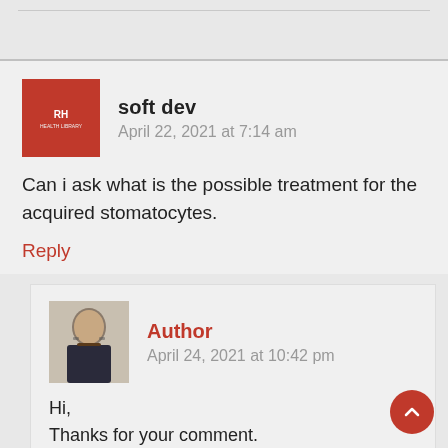soft dev
April 22, 2021 at 7:14 am
Can i ask what is the possible treatment for the acquired stomatocytes.
Reply
Author
April 24, 2021 at 10:42 pm
Hi,
Thanks for your comment.
The treatment of the acquired stomatocytosis is the treatment of the underlying cause, e.g. liver disease, some medications, alcoholism etc.